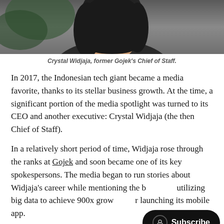[Figure (photo): Photo of Crystal Widjaja, a woman with dark hair, partially visible from upper portion of image]
Crystal Widjaja, former Gojek's Chief of Staff.
In 2017, the Indonesian tech giant became a media favorite, thanks to its stellar business growth. At the time, a significant portion of the media spotlight was turned to its CEO and another executive: Crystal Widjaja (the then Chief of Staff).
In a relatively short period of time, Widjaja rose through the ranks at Gojek and soon became one of its key spokespersons. The media began to run stories about Widjaja's career while mentioning the b... utilizing big data to achieve 900x grow... launching its mobile app.